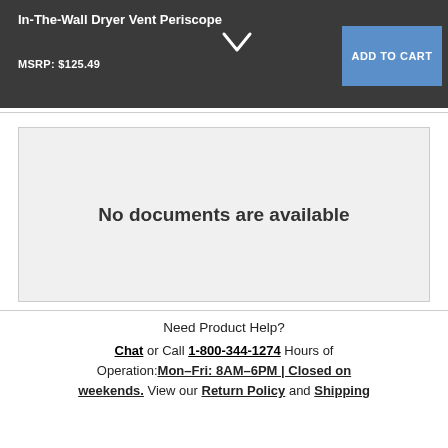In-The-Wall Dryer Vent Periscope
MSRP: $125.49
[Figure (screenshot): ADD TO CART button in blue]
No documents are available
Need Product Help? Chat or Call 1-800-344-1274 Hours of Operation: Mon–Fri: 8AM–6PM | Closed on weekends. View our Return Policy and Shipping